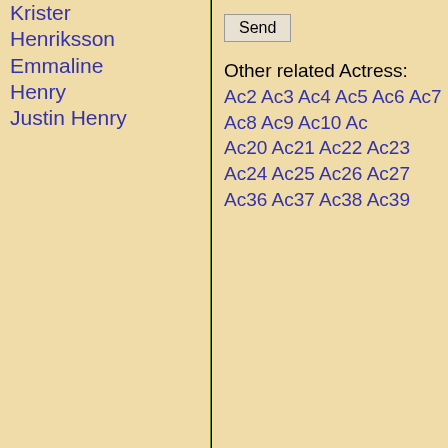Krister Henriksson
Emmaline Henry
Justin Henry
Send
Other related Actress: Ac2 Ac3 Ac4 Ac5 Ac6 Ac7 Ac8 Ac9 Ac10 Ac... Ac20 Ac21 Ac22 Ac23 Ac24 Ac25 Ac26 Ac27... Ac36 Ac37 Ac38 Ac39